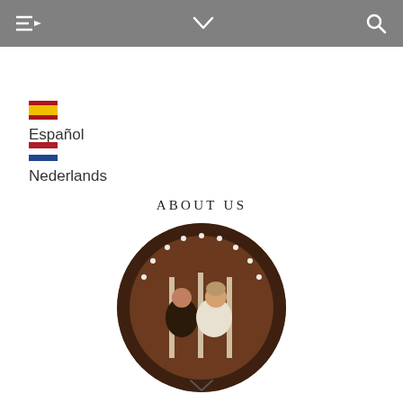Navigation bar with menu, chevron, and search icons
Español
Nederlands
ABOUT US
[Figure (photo): Circular photo of two people (a woman and a man) inside what appears to be a restaurant or bar with decorative lights in the background]